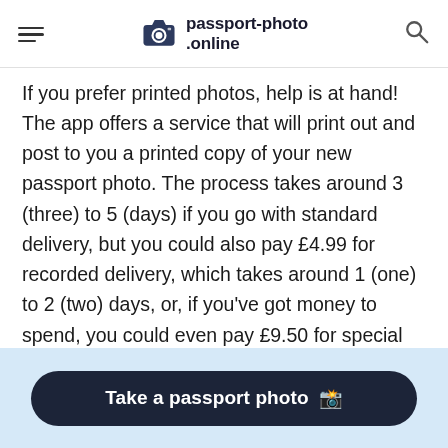passport-photo.online
If you prefer printed photos, help is at hand! The app offers a service that will print out and post to you a printed copy of your new passport photo. The process takes around 3 (three) to 5 (days) if you go with standard delivery, but you could also pay £4.99 for recorded delivery, which takes around 1 (one) to 2 (two) days, or, if you've got money to spend, you could even pay £9.50 for special delivery which, provided you get your order in before noon, will arrive the next day. This
Take a passport photo 📸